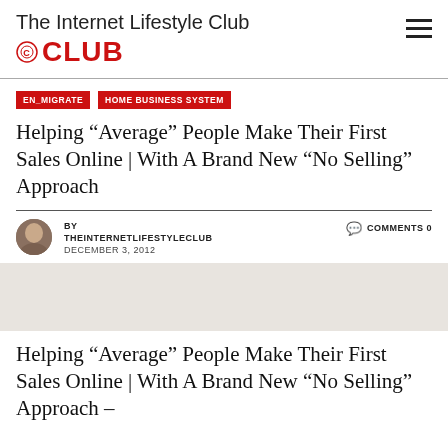The Internet Lifestyle Club
CLUB
EN_MIGRATE   HOME BUSINESS SYSTEM
Helping “Average” People Make Their First Sales Online | With A Brand New “No Selling” Approach
BY THEINTERNETLIFESTYLECLUB   COMMENTS 0   DECEMBER 3, 2012
Helping “Average” People Make Their First Sales Online | With A Brand New “No Selling” Approach –